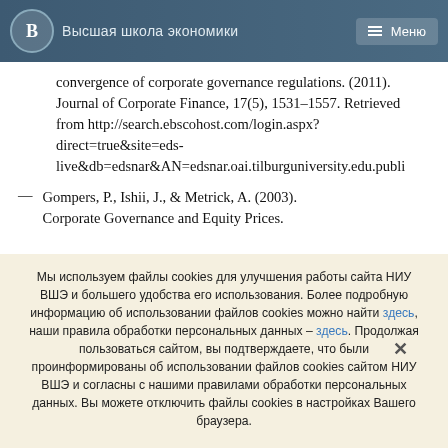Высшая школа экономики  Меню
convergence of corporate governance regulations. (2011). Journal of Corporate Finance, 17(5), 1531–1557. Retrieved from http://search.ebscohost.com/login.aspx?direct=true&site=eds-live&db=edsnar&AN=edsnar.oai.tilburguniversity.edu.publi
— Gompers, P., Ishii, J., & Metrick, A. (2003). Corporate Governance and Equity Prices.
Мы используем файлы cookies для улучшения работы сайта НИУ ВШЭ и большего удобства его использования. Более подробную информацию об использовании файлов cookies можно найти здесь, наши правила обработки персональных данных – здесь. Продолжая пользоваться сайтом, вы подтверждаете, что были проинформированы об использовании файлов cookies сайтом НИУ ВШЭ и согласны с нашими правилами обработки персональных данных. Вы можете отключить файлы cookies в настройках Вашего браузера.